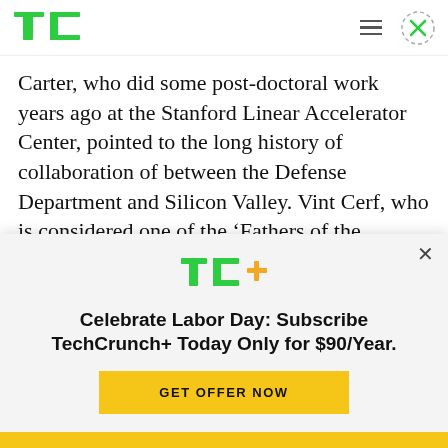TechCrunch header with TC logo, hamburger menu, and close button
Carter, who did some post-doctoral work years ago at the Stanford Linear Accelerator Center, pointed to the long history of collaboration of between the Defense Department and Silicon Valley. Vint Cerf, who is considered one of the ‘Fathers of the Internet,’ was a DARPA researcher, while GPS began as a defense project. Long before the
[Figure (logo): TC+ logo in green and yellow/orange]
Celebrate Labor Day: Subscribe TechCrunch+ Today Only for $90/Year.
GET OFFER NOW